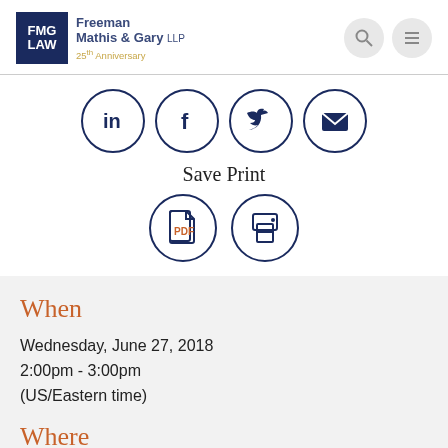[Figure (logo): FMG LAW logo with Freeman Mathis & Gary LLP text and 25th Anniversary subtitle]
[Figure (infographic): Social sharing icons row: LinkedIn, Facebook, Twitter, Email in circles; Save Print label; PDF and Print icons in circles]
When
Wednesday, June 27, 2018
2:00pm - 3:00pm
(US/Eastern time)
Where